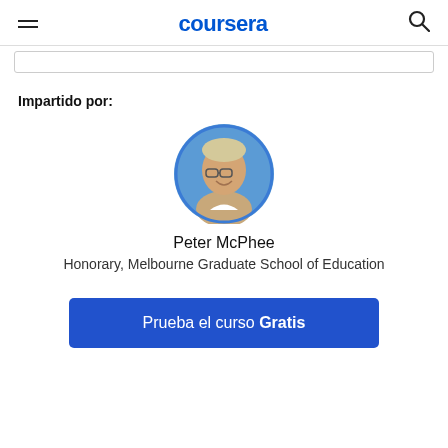coursera
[Figure (photo): Circular profile photo of Peter McPhee, an older man with glasses and gray-blonde hair, smiling, with a blue background.]
Impartido por:
Peter McPhee
Honorary, Melbourne Graduate School of Education
Prueba el curso Gratis